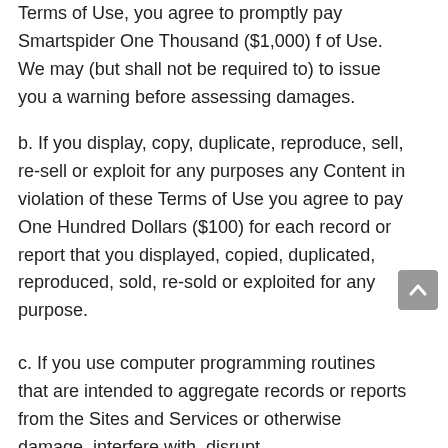Terms of Use, you agree to promptly pay Smartspider One Thousand ($1,000) f of Use. We may (but shall not be required to) to issue you a warning before assessing damages.
b. If you display, copy, duplicate, reproduce, sell, re-sell or exploit for any purposes any Content in violation of these Terms of Use you agree to pay One Hundred Dollars ($100) for each record or report that you displayed, copied, duplicated, reproduced, sold, re-sold or exploited for any purpose.
c. If you use computer programming routines that are intended to aggregate records or reports from the Sites and Services or otherwise damage, interfere with, disrupt,